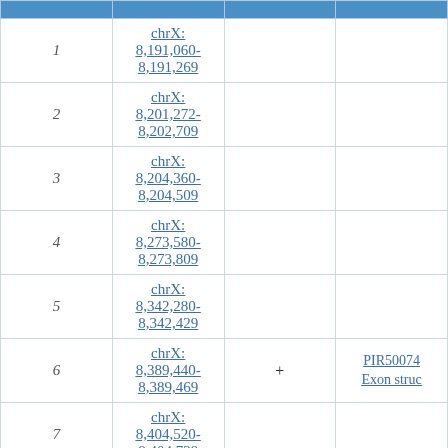|  |  |  |  |
| --- | --- | --- | --- |
| 1 | chrX: 8,191,060-8,191,269 |  |  |
| 2 | chrX: 8,201,272-8,202,709 |  |  |
| 3 | chrX: 8,204,360-8,204,509 |  |  |
| 4 | chrX: 8,273,580-8,273,809 |  |  |
| 5 | chrX: 8,342,280-8,342,429 |  |  |
| 6 | chrX: 8,389,440-8,389,469 | + | PIR50074
Exon struc |
| 7 | chrX: 8,404,520-8,404,729 |  |  |
| 8 | chrX: 8,464,830-8,466,510 | + | VCX3B
Exon struc |
| 9 | chrX: 8,465,442-8,465,470 | + | PIR46429
Exon struc |
| 10 | chrX: 8,528,874-8,732,186 | - | ANOS1
Exon struc |
|  |  |  | PIR50480 |